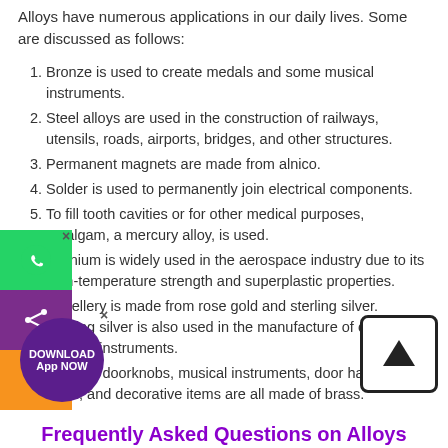Alloys have numerous applications in our daily lives. Some are discussed as follows:
Bronze is used to create medals and some musical instruments.
Steel alloys are used in the construction of railways, utensils, roads, airports, bridges, and other structures.
Permanent magnets are made from alnico.
Solder is used to permanently join electrical components.
To fill tooth cavities or for other medical purposes, amalgam, a mercury alloy, is used.
Titanium is widely used in the aerospace industry due to its high-temperature strength and superplastic properties.
Jewellery is made from rose gold and sterling silver. Sterling silver is also used in the manufacture of cutlery and musical instruments.
Zippers, doorknobs, musical instruments, door handles, locks, and decorative items are all made of brass.
Frequently Asked Questions on Alloys